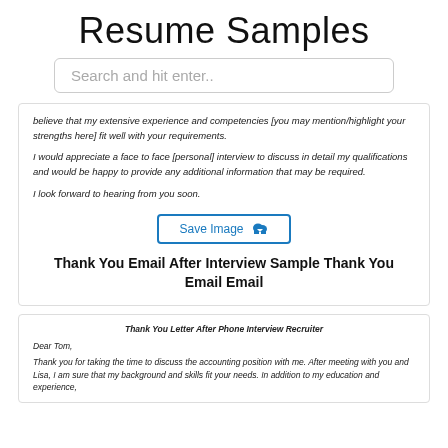Resume Samples
Search and hit enter..
believe that my extensive experience and competencies [you may mention/highlight your strengths here] fit well with your requirements.

I would appreciate a face to face [personal] interview to discuss in detail my qualifications and would be happy to provide any additional information that may be required.

I look forward to hearing from you soon.
[Figure (other): Save Image button with cloud upload icon]
Thank You Email After Interview Sample Thank You Email Email
Thank You Letter After Phone Interview Recruiter

Dear Tom,

Thank you for taking the time to discuss the accounting position with me. After meeting with you and Lisa, I am sure that my background and skills fit your needs. In addition to my education and experience,